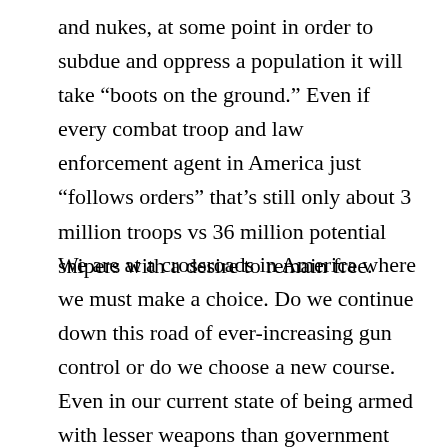and nukes, at some point in order to subdue and oppress a population it will take “boots on the ground.” Even if every combat troop and law enforcement agent in America just “follows orders” that’s still only about 3 million troops vs 36 million potential snipers with a desire to remain free.
We are at a crossroads in America where we must make a choice. Do we continue down this road of ever-increasing gun control or do we choose a new course.  Even in our current state of being armed with lesser weapons than government forces, the American people are still a formidable force to be